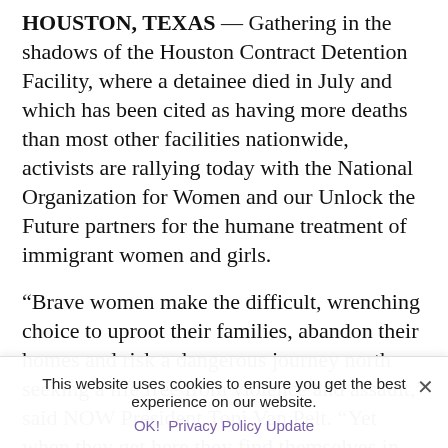HOUSTON, TEXAS — Gathering in the shadows of the Houston Contract Detention Facility, where a detainee died in July and which has been cited as having more deaths than most other facilities nationwide, activists are rallying today with the National Organization for Women and our Unlock the Future partners for the humane treatment of immigrant women and girls.
“Brave women make the difficult, wrenching choice to uproot their families, abandon their homes and risk a dangerous journey north seeking a life free from violence and assault,” said NOW President Toni Van Pelt. “Yet when they get here they find themselves in places such as the Joe Corley Detention Facility in Conroe, Texas, which has a history of detaining pregnant women, and where former detainees have reported sexual assault. In addition, messages of abuse have doubled among detained women over the past two years. These atrocities simply must stop.”
This website uses cookies to ensure you get the best experience on our website.
OK!   Privacy Policy Update